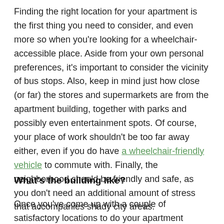Finding the right location for your apartment is the first thing you need to consider, and even more so when you're looking for a wheelchair-accessible place. Aside from your own personal preferences, it's important to consider the vicinity of bus stops. Also, keep in mind just how close (or far) the stores and supermarkets are from the apartment building, together with parks and possibly even entertainment spots. Of course, your place of work shouldn't be too far away either, even if you do have a wheelchair-friendly vehicle to commute with. Finally, the neighborhood should be friendly and safe, as you don't need an additional amount of stress that accompanies shady city areas.
What's the building like?
Once you've come up with a couple of satisfactory locations to do your apartment search, you should focus